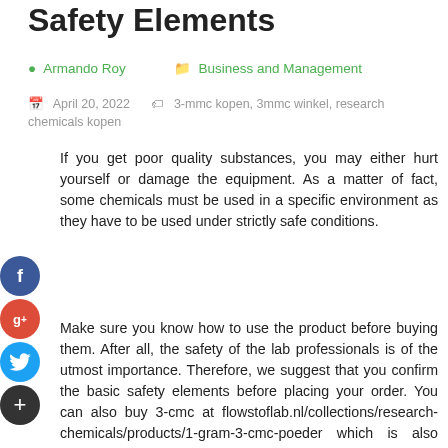Safety Elements
Armando Roy   Business and Management
April 20, 2022   3-mmc kopen, 3mmc winkel, research chemicals kopen
If you get poor quality substances, you may either hurt yourself or damage the equipment. As a matter of fact, some chemicals must be used in a specific environment as they have to be used under strictly safe conditions.
Make sure you know how to use the product before buying them. After all, the safety of the lab professionals is of the utmost importance. Therefore, we suggest that you confirm the basic safety elements before placing your order. You can also buy 3-cmc at flowstoflab.nl/collections/research-chemicals/products/1-gram-3-cmc-poeder which is also known as 3-cmc kopen at flowstoflab.nl/collections/research-chemicals/products/1-